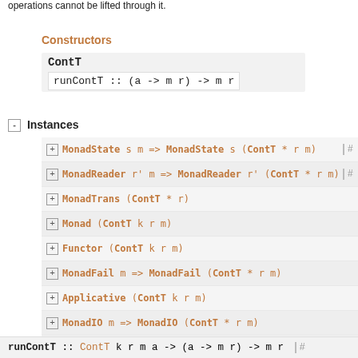operations cannot be lifted through it.
Constructors
ContT
runContT :: (a -> m r) -> m r
Instances
MonadState s m => MonadState s (ContT * r m)  | #
MonadReader r' m => MonadReader r' (ContT * r m) | #
MonadTrans (ContT * r)
Monad (ContT k r m)
Functor (ContT k r m)
MonadFail m => MonadFail (ContT * r m)
Applicative (ContT k r m)
MonadIO m => MonadIO (ContT * r m)
MonadCont (ContT * r m)  | #
runContT :: ContT k r m a -> (a -> m r) -> m r  #